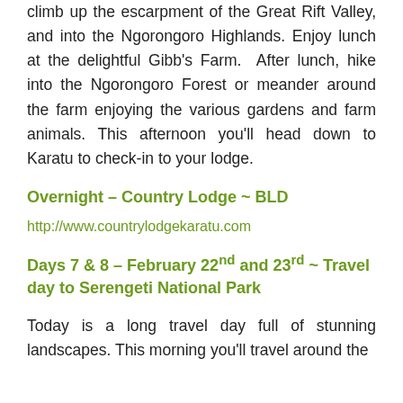climb up the escarpment of the Great Rift Valley, and into the Ngorongoro Highlands. Enjoy lunch at the delightful Gibb's Farm.  After lunch, hike into the Ngorongoro Forest or meander around the farm enjoying the various gardens and farm animals. This afternoon you'll head down to Karatu to check-in to your lodge.
Overnight – Country Lodge ~ BLD
http://www.countrylodgekaratu.com
Days 7 & 8 – February 22nd and 23rd ~ Travel day to Serengeti National Park
Today is a long travel day full of stunning landscapes. This morning you'll travel around the